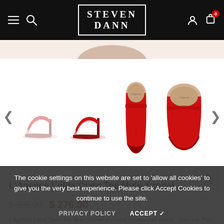Steven Dann — navigation bar with hamburger menu, search, logo, account, and cart (0 items)
[Figure (photo): Partial view of shoe product image at top, then four thumbnail shoe images in a row with left/right navigation arrows: pink open-toe mule sandal, red open-toe mule sandal, red pointed-toe flat (front view), red pointed-toe flat (side view)]
L'Agence Lolita Open Toe Mule Sandal
$ 395.00  $ 276.00
L'Agence Lolita Open Toe Mule Sandal in cherry tomato/rose suede. Open toe. Po...
Size: *    SIZE GUIDE
The cookie settings on this website are set to 'allow all cookies' to give you the very best experience. Please click Accept Cookies to continue to use the site.